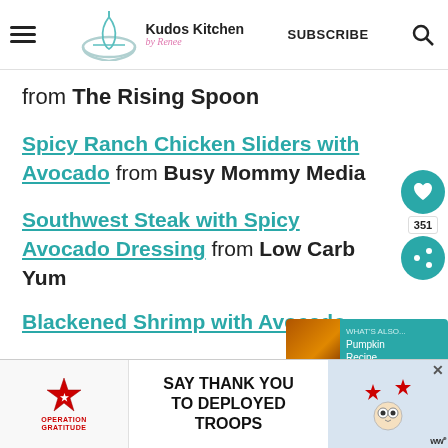Kudos Kitchen by Renee — SUBSCRIBE
from The Rising Spoon
Spicy Ranch Chicken Sliders with Avocado from Busy Mommy Media
Southwest Steak with Spicy Avocado Dressing from Low Carb Yum
Blackened Shrimp with Avocado R...
[Figure (other): Social share widget with heart icon and 351 count]
[Figure (other): Pumpkin Recipe popup thumbnail overlay]
[Figure (other): Operation Gratitude ad banner: SAY THANK YOU TO DEPLOYED TROOPS]